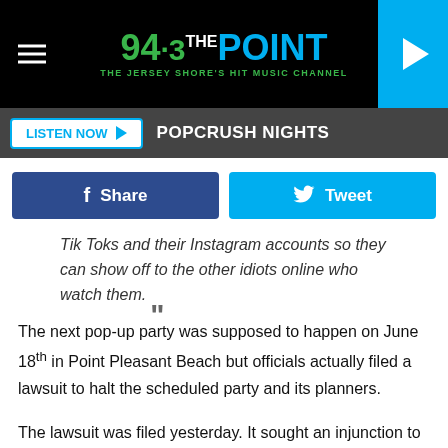[Figure (logo): 94.3 The Point radio station logo with hamburger menu and play button]
LISTEN NOW ▶  POPCRUSH NIGHTS
Share  Tweet
Tik Toks and their Instagram accounts so they can show off to the other idiots online who watch them. "
The next pop-up party was supposed to happen on June 18th in Point Pleasant Beach but officials actually filed a lawsuit to halt the scheduled party and its planners.
The lawsuit was filed yesterday.  It sought an injunction to force organizers to publicly cancel future parties and abstain from planning any others.